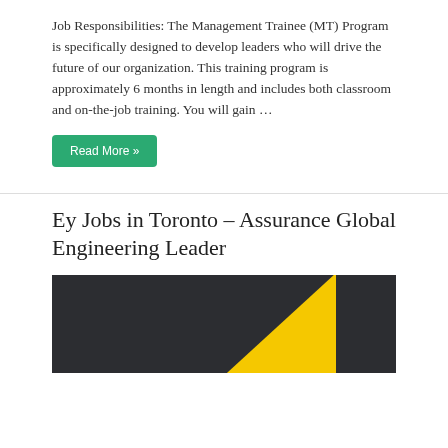Job Responsibilities: The Management Trainee (MT) Program is specifically designed to develop leaders who will drive the future of our organization. This training program is approximately 6 months in length and includes both classroom and on-the-job training. You will gain …
Read More »
Ey Jobs in Toronto – Assurance Global Engineering Leader
[Figure (illustration): Dark background image with a yellow triangle shape on the right side, partially visible at the bottom of the page.]